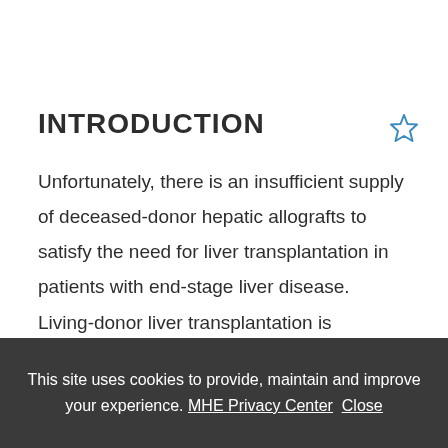INTRODUCTION
Unfortunately, there is an insufficient supply of deceased-donor hepatic allografts to satisfy the need for liver transplantation in patients with end-stage liver disease. Living-donor liver transplantation is necessary to overcome the organ
This site uses cookies to provide, maintain and improve your experience. MHE Privacy Center Close